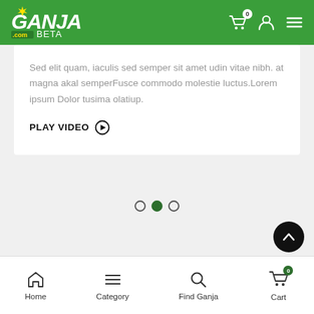Ganja.com BETA — header with cart, user, and menu icons
Sed elit quam, iaculis sed semper sit amet udin vitae nibh. at magna akal semperFusce commodo molestie luctus.Lorem ipsum Dolor tusima olatiup.
PLAY VIDEO ▶
[Figure (other): Carousel pagination dots — three circles, middle one filled dark green (active)]
[Figure (other): Scroll-to-top button, black circle with upward chevron]
Home | Category | Find Ganja | Cart